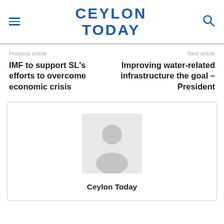CEYLON TODAY
Previous article
IMF to support SL's efforts to overcome economic crisis
Next article
Improving water-related infrastructure the goal – President
[Figure (illustration): Default author avatar placeholder image — grey silhouette of a person on light grey background]
Ceylon Today